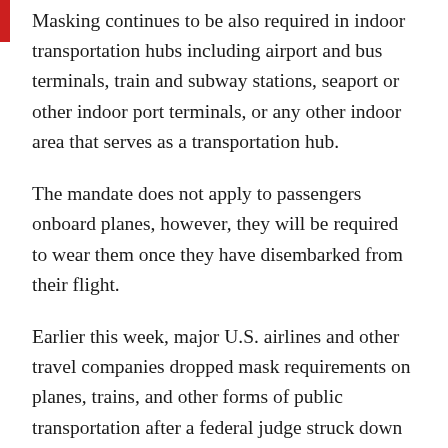Masking continues to be also required in indoor transportation hubs including airport and bus terminals, train and subway stations, seaport or other indoor port terminals, or any other indoor area that serves as a transportation hub.
The mandate does not apply to passengers onboard planes, however, they will be required to wear them once they have disembarked from their flight.
Earlier this week, major U.S. airlines and other travel companies dropped mask requirements on planes, trains, and other forms of public transportation after a federal judge struck down the CDC's mask mandate.
TRENDING TODAY